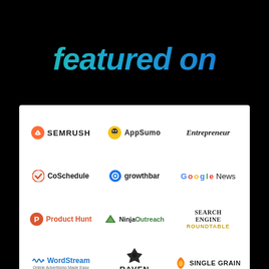featured on
[Figure (logo): Grid of brand logos: SEMRush, AppSumo, Entrepreneur, CoSchedule, growthbar, Google News, Product Hunt, NinjaOutreach, Search Engine Roundtable, WordStream, Raven, Single Grain]